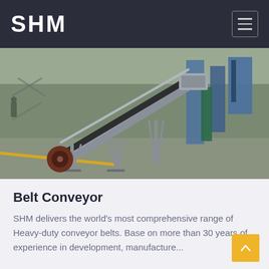SHM
[Figure (photo): Industrial factory floor showing a heavy-duty belt conveyor system with steel frame structure, black conveyor belt, and red/brown rollers. The conveyor is inclined at an angle. Background shows a large industrial warehouse with blue metal structures and equipment.]
Belt Conveyor
SHM delivers the world's most comprehensive range of Heavy-duty conveyor belts. Base on more than 30 years of experience in development, manufacture...